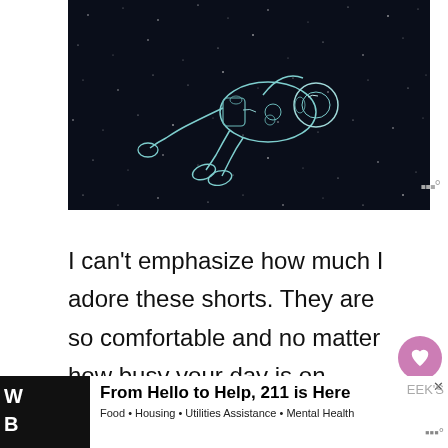[Figure (illustration): Illustration of an astronaut floating in space against a dark starry background, drawn in a sketch/outline style with teal/white lines on dark navy background]
I can't emphasize how much I adore these shorts. They are so comfortable and no matter how busy your day is on campus, they'll keep you pretty and fabulous.
[Figure (infographic): Ad banner: 'From Hello to Help, 211 is Here' with subtitle 'Food • Housing • Utilities Assistance • Mental Health']